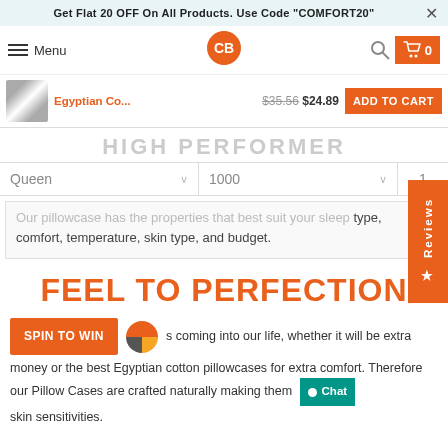Get Flat 20 OFF On All Products. Use Code "COMFORT20"
[Figure (screenshot): Navigation bar with hamburger menu, Menu text, circular logo with CB initials in orange, search icon, and cart button with 0 count]
[Figure (screenshot): Sticky add-to-cart bar with product thumbnail, Egyptian Co... title in orange, strikethrough price $35.56, sale price $24.89, and ADD TO CART button]
HIGH PERFORMER
[Figure (screenshot): Product option dropdowns: Queen size selector, 1000 thread count selector, and quantity showing 1]
Our pillowcase has the properties that best suit your sleep type, comfort, temperature, skin type, and budget.
FEEL TO PERFECTION
s coming into our life, whether it will be extra money or the best Egyptian cotton pillowcases for extra comfort. Therefore our Pillow Cases are crafted naturally making them skin sensitivities.